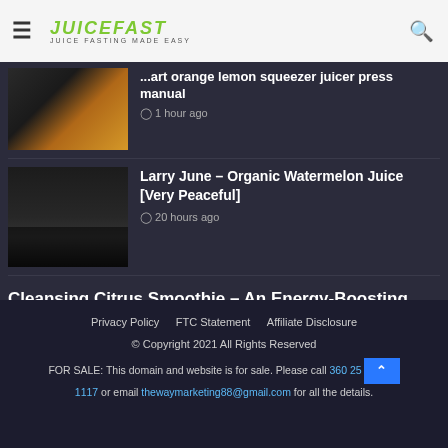JUICEFAST – JUICE FASTING MADE EASY
...mart orange lemon squeezer juicer press manual
1 hour ago
Larry June – Organic Watermelon Juice [Very Peaceful]
20 hours ago
Cleansing Citrus Smoothie – An Energy-Boosting Green Smoothie
22 hours ago
Privacy Policy   FTC Statement   Affiliate Disclosure
© Copyright 2021 All Rights Reserved
FOR SALE: This domain and website is for sale. Please call 360 25...1117 or email thewaymarketing88@gmail.com for all the details.